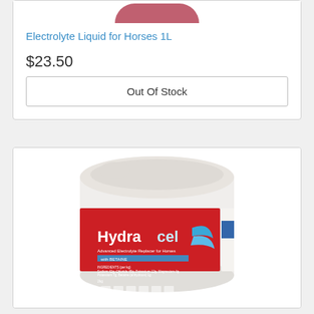[Figure (photo): Partial view of pink/red electrolyte liquid bottle top]
Electrolyte Liquid for Horses 1L
$23.50
Out Of Stock
[Figure (photo): Hydracel Advanced Electrolyte Replacer for Horses product in a white tub with red label, with white lid]